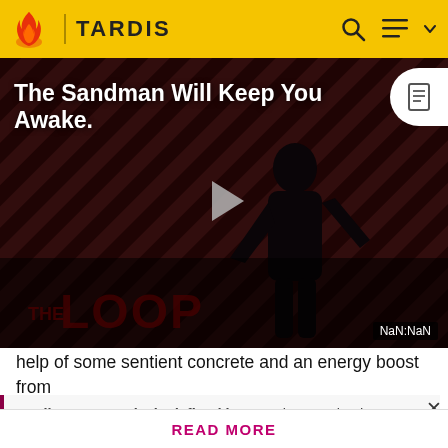TARDIS
[Figure (screenshot): Video thumbnail for 'The Sandman Will Keep You Awake' showing a dark figure in black against a diagonal striped red/dark background, with THE LOOP text at bottom. A play button triangle is centered. NaN:NaN timestamp displayed bottom right.]
The Sandman Will Keep You Awake.
help of some sentient concrete and an energy boost from
Mr Smith, K9 is able to communicate to Luke in his dream
Spoilers are precisely defined here. Rules vary by the story's medium. Info from television stories can't be added here
READ MORE